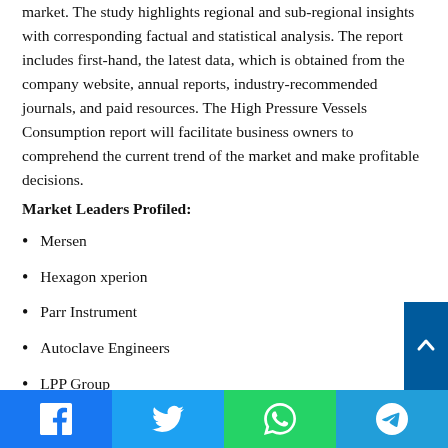market. The study highlights regional and sub-regional insights with corresponding factual and statistical analysis. The report includes first-hand, the latest data, which is obtained from the company website, annual reports, industry-recommended journals, and paid resources. The High Pressure Vessels Consumption report will facilitate business owners to comprehend the current trend of the market and make profitable decisions.
Market Leaders Profiled:
Mersen
Hexagon xperion
Parr Instrument
Autoclave Engineers
LPP Group